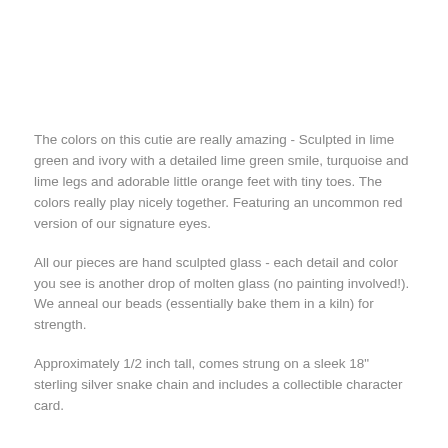The colors on this cutie are really amazing - Sculpted in lime green and ivory with a detailed lime green smile, turquoise and lime legs and adorable little orange feet with tiny toes. The colors really play nicely together. Featuring an uncommon red version of our signature eyes.
All our pieces are hand sculpted glass - each detail and color you see is another drop of molten glass (no painting involved!). We anneal our beads (essentially bake them in a kiln) for strength.
Approximately 1/2 inch tall, comes strung on a sleek 18" sterling silver snake chain and includes a collectible character card.